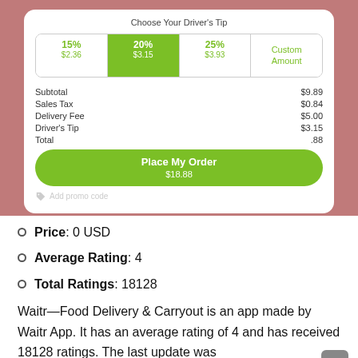[Figure (screenshot): Screenshot of a food delivery app (Waitr) showing tip selection options (15% $2.36, 20% $3.15 selected, 25% $3.93, Custom Amount) and order summary with Subtotal $9.89, Sales Tax $0.84, Delivery Fee $5.00, Driver's Tip $3.15, Total $18.88, and a 'Place My Order $18.88' button on a dusty rose background.]
Price: 0 USD
Average Rating: 4
Total Ratings: 18128
Waitr—Food Delivery & Carryout is an app made by Waitr App. It has an average rating of 4 and has received 18128 ratings. The last update was